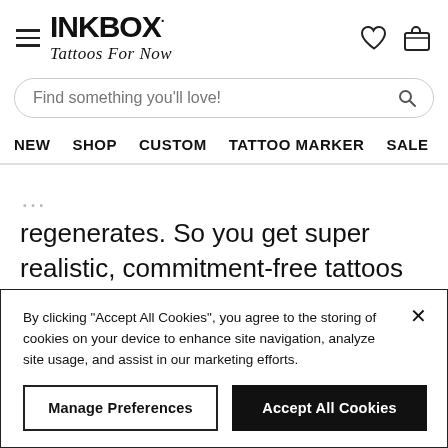[Figure (logo): INKBOX Tattoos For Now logo with hamburger menu icon on left and heart/cart icons on right]
[Figure (screenshot): Search bar with placeholder text 'Find something you'll love!' and search icon]
NEW   SHOP   CUSTOM   TATTOO MARKER   SALE   HOW
regenerates. So you get super realistic, commitment-free tattoos that are easy-to-apply (and easy-to-get-hooked-on).
By clicking “Accept All Cookies”, you agree to the storing of cookies on your device to enhance site navigation, analyze site usage, and assist in our marketing efforts.